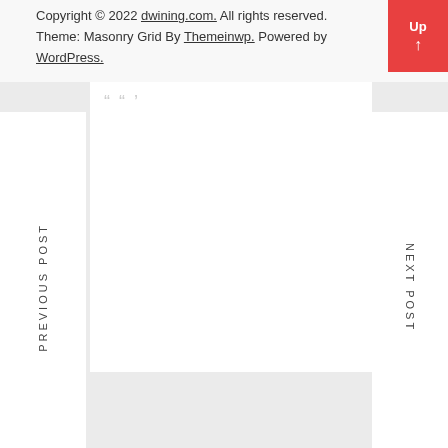Copyright © 2022 dwining.com. All rights reserved. Theme: Masonry Grid By Themeinwp. Powered by WordPress.
PREVIOUS POST
NEXT POST